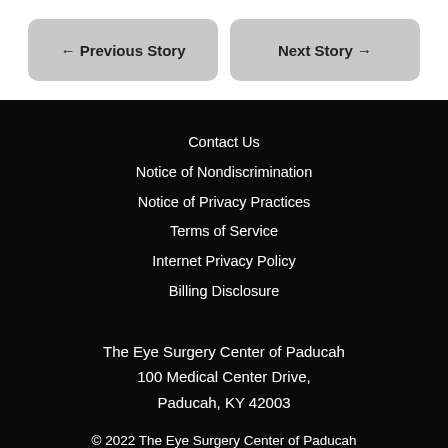← Previous Story
Next Story →
Contact Us
Notice of Nondiscrimination
Notice of Privacy Practices
Terms of Service
Internet Privacy Policy
Billing Disclosure
The Eye Surgery Center of Paducah
100 Medical Center Drive,
Paducah, KY 42003
© 2022 The Eye Surgery Center of Paducah